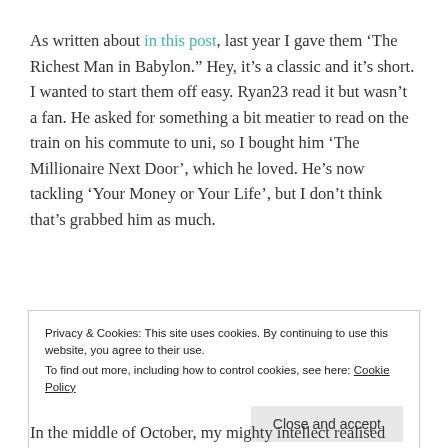As written about in this post, last year I gave them ‘The Richest Man in Babylon.” Hey, it’s a classic and it’s short. I wanted to start them off easy. Ryan23 read it but wasn’t a fan. He asked for something a bit meatier to read on the train on his commute to uni, so I bought him ‘The Millionaire Next Door’, which he loved. He’s now tackling ‘Your Money or Your Life’, but I don’t think that’s grabbed him as much.
Privacy & Cookies: This site uses cookies. By continuing to use this website, you agree to their use. To find out more, including how to control cookies, see here: Cookie Policy
Close and accept
In the middle of October, my mighty intellect realised